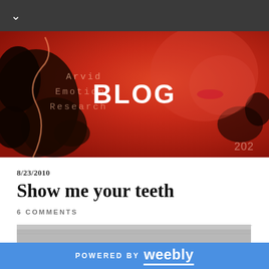[Figure (photo): Red-toned artistic blog banner with fractal tree-like dark shapes on left, a man's face on upper right, and text 'Arvid Emotion Research' in typewriter font behind the central white bold 'BLOG' heading. Year '202' visible lower right.]
8/23/2010
Show me your teeth
6 COMMENTS
[Figure (photo): Partial photo strip visible at bottom of content area.]
POWERED BY weebly